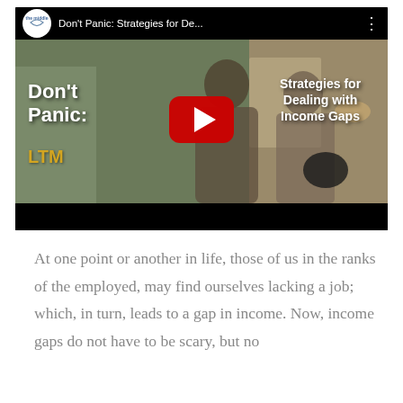[Figure (screenshot): YouTube video thumbnail for 'Don't Panic: Strategies for Dealing with Income Gaps' from the 'the middle' channel. Shows two people in a home setting with a large red YouTube play button in the center. Left text overlay reads 'Don't Panic:' and right text overlay reads 'Strategies for Dealing with Income Gaps'. LTM badge in lower left corner. Top bar shows channel logo, truncated video title 'Don't Panic: Strategies for De...' and a three-dot menu icon.]
At one point or another in life, those of us in the ranks of the employed, may find ourselves lacking a job; which, in turn, leads to a gap in income. Now, income gaps do not have to be scary, but no